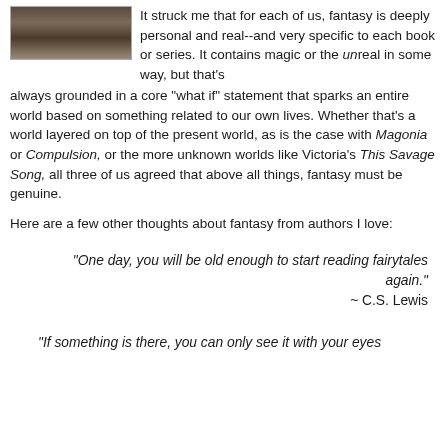[Figure (photo): A small photograph of a crowd or group scene at the top left of the page]
It struck me that for each of us, fantasy is deeply personal and real--and very specific to each book or series. It contains magic or the unreal in some way, but that's always grounded in a core "what if" statement that sparks an entire world based on something related to our own lives. Whether that's a world layered on top of the present world, as is the case with Magonia or Compulsion, or the more unknown worlds like Victoria's This Savage Song, all three of us agreed that above all things, fantasy must be genuine.
Here are a few other thoughts about fantasy from authors I love:
“One day, you will be old enough to start reading fairytales again.” ~ C.S. Lewis
“If something is there, you can only see it with your eyes